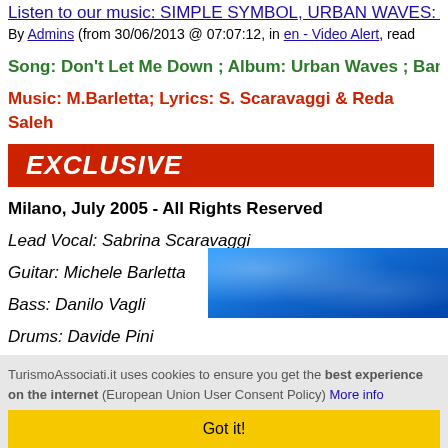Listen to our music: SIMPLE SYMBOL, URBAN WAVES: DON'T...
By Admins (from 30/06/2013 @ 07:07:12, in en - Video Alert, read...
Song: Don't Let Me Down ; Album: Urban Waves ; Band: Simp...
Music: M.Barletta; Lyrics: S. Scaravaggi & Reda Saleh
[Figure (other): Red banner with white italic bold text reading EXCLUSIVE]
Milano, July 2005 - All Rights Reserved
Lead Vocal: Sabrina Scaravaggi
Guitar: Michele Barletta
Bass: Danilo Vagli
Drums: Davide Pini
[Figure (photo): Partial photo showing blue background, appears to be album cover]
TurismoAssociati.it uses cookies to ensure you get the best experience on the internet (European Union User Consent Policy) More info
Got it!